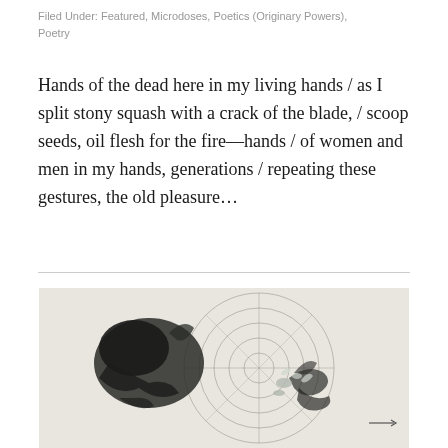Filed Under: Featured, Microdoses, Poetics (Originary Powers), Poetry
Hands of the dead here in my living hands / as I split stony squash with a crack of the blade, / scoop seeds, oil flesh for the fire—hands / of women and men in my hands, generations / repeating these gestures, the old pleasure…
[Figure (photo): Black and white photograph of ink dispersing in water inside a circular vessel, creating organic flowing shapes against a light background with concentric circular lines.]